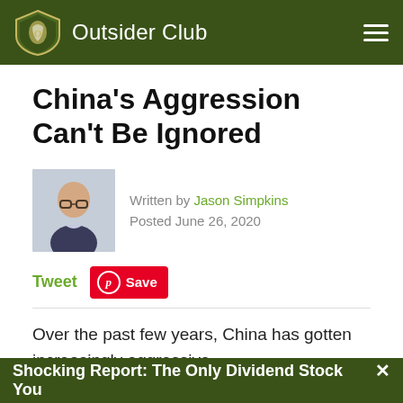Outsider Club
China's Aggression Can't Be Ignored
Written by Jason Simpkins
Posted June 26, 2020
Tweet  Save
Over the past few years, China has gotten increasingly aggressive...
Shocking Report: The Only Dividend Stock You